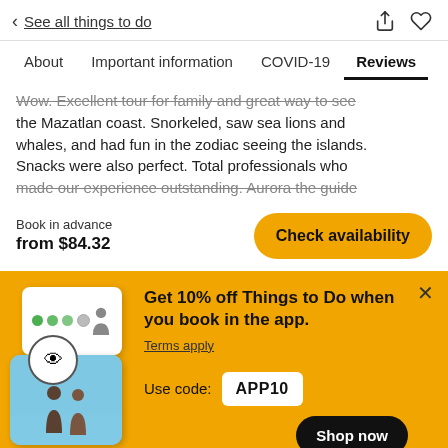< See all things to do
About   Important information   COVID-19   Reviews
Wow. Excellent tour for family and great way to see the Mazatlan coast. Snorkeled, saw sea lions and whales, and had fun in the zodiac seeing the islands. Snacks were also perfect. Total professionals who made our experience outstanding. Aurora the guide
Book in advance
from $84.32
Check availability
Get 10% off Things to Do when you book in the app.
Terms apply
Use code: APP10
Shop now